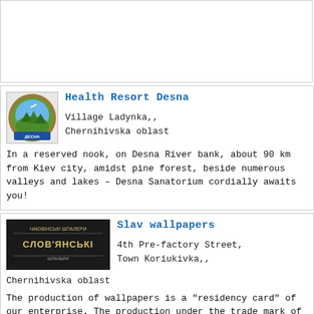[Figure (other): Empty placeholder card area at top of page]
Health Resort Desna
[Figure (logo): Health Resort Desna logo - circular emblem with Desna text in Ukrainian, nature scene]
Village Ladynka,,
Chernihivska oblast
In a reserved nook, on Desna River bank, about 90 km from Kiev city, amidst pine forest, beside numerous valleys and lakes – Desna Sanatorium cordially awaits you!
Slav wallpapers
[Figure (logo): Slav wallpapers logo - dark background with Cyrillic text]
4th Pre-factory Street,
Town Koriukivka,,
Chernihivska oblast
The production of wallpapers is a "residency card" of our enterprise. The production under the trade mark of "Slav wallpapers" enjoys the deserved demand and respect in the markets of the Ukraine, CIS